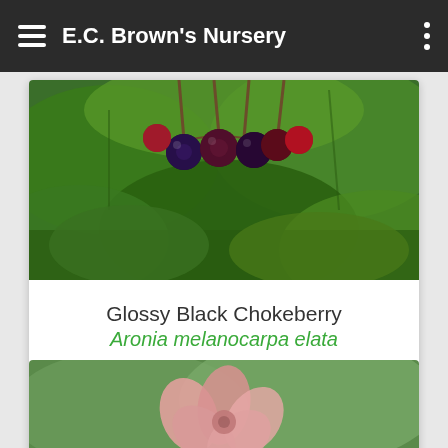E.C. Brown's Nursery
[Figure (photo): Close-up photo of dark purple/red chokeberries hanging on green leafy branches]
Glossy Black Chokeberry
Aronia melanocarpa elata
$45.00
MORE DETAILS
[Figure (photo): Close-up photo of pink flowers on green background]